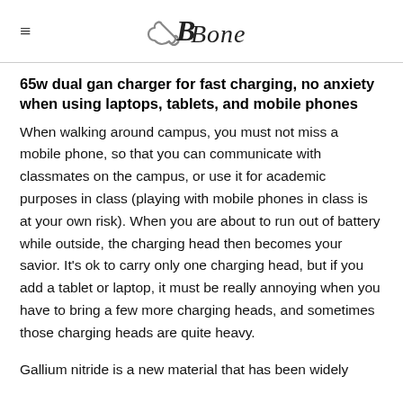Bone
65w dual gan charger for fast charging, no anxiety when using laptops, tablets, and mobile phones
When walking around campus, you must not miss a mobile phone, so that you can communicate with classmates on the campus, or use it for academic purposes in class (playing with mobile phones in class is at your own risk). When you are about to run out of battery while outside, the charging head then becomes your savior. It's ok to carry only one charging head, but if you add a tablet or laptop, it must be really annoying when you have to bring a few more charging heads, and sometimes those charging heads are quite heavy.
Gallium nitride is a new material that has been widely